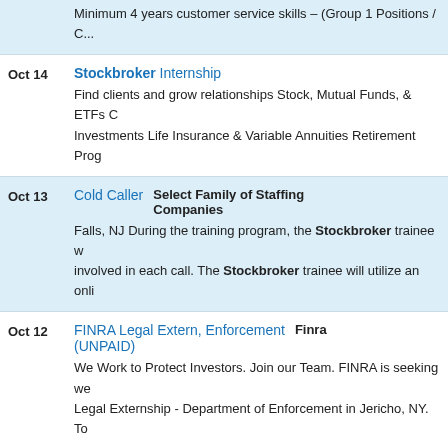Minimum 4 years customer service skills - (partial, cut off at top)
Oct 14 | Stockbroker Internship | Find clients and grow relationships Stock, Mutual Funds, & ETFs C... Investments Life Insurance & Variable Annuities Retirement Prog...
Oct 13 | Cold Caller | Select Family of Staffing Companies | Falls, NJ During the training program, the Stockbroker trainee w... involved in each call. The Stockbroker trainee will utilize an onli...
Oct 12 | FINRA Legal Extern, Enforcement (UNPAID) | Finra | We Work to Protect Investors. Join our Team. FINRA is seeking we... Legal Externship - Department of Enforcement in Jericho, NY. To...
Oct 11 | Stockbroker Internship | National Securities | Description: Find clients and grow relationships Stock, Mutual Fu... Bonds & Fixed Investments Life Insurance & Variable Annuities Re...
Oct 08 | Stockbroker / StockbrokerTrain | Broker Dealer